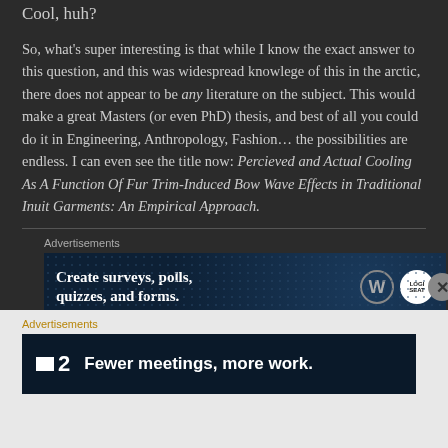Cool, huh?
So, what's super interesting is that while I know the exact answer to this question, and this was widespread knowlege of this in the arctic, there does not appear to be any literature on the subject. This would make a great Masters (or even PhD) thesis, and best of all you could do it in Engineering, Anthropology, Fashion… the possibilities are endless. I can even see the title now: Percieved and Actual Cooling As A Function Of Fur Trim-Induced Bow Wave Effects in Traditional Inuit Garments: An Empirical Approach.
Advertisements
[Figure (screenshot): Dark advertisement banner: 'Create surveys, polls, quizzes, and forms.' with WordPress and another logo icon]
Advertisements
[Figure (screenshot): Dark advertisement banner: 'Fewer meetings, more work.' with F2 logo]